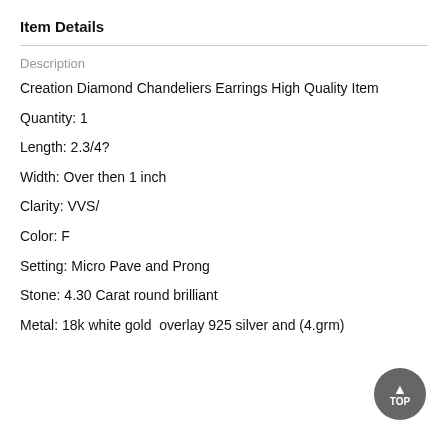Item Details
Description
Creation Diamond Chandeliers Earrings High Quality Item
Quantity: 1
Length: 2.3/4?
Width: Over then 1 inch
Clarity: VVS/
Color: F
Setting: Micro Pave and Prong
Stone: 4.30 Carat round brilliant
Metal: 18k white gold  overlay 925 silver and (4.grm)